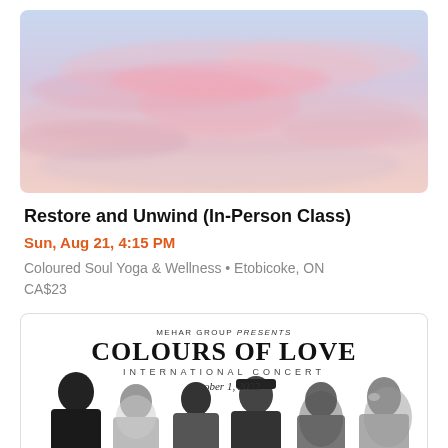[Figure (photo): Pastel pink and blue sky with soft clouds, used as a header image for the yoga event listing.]
Restore and Unwind (In-Person Class)
Sun, Aug 21, 4:15 PM
Coloured Soul Yoga & Wellness • Etobicoke, ON
CA$23
[Figure (photo): Concert promotional card: MEHAR GROUP presents COLOURS OF LOVE INTERNATIONAL CONCERT, October 1, 2022. Shows a group of performers in black and white at the bottom.]